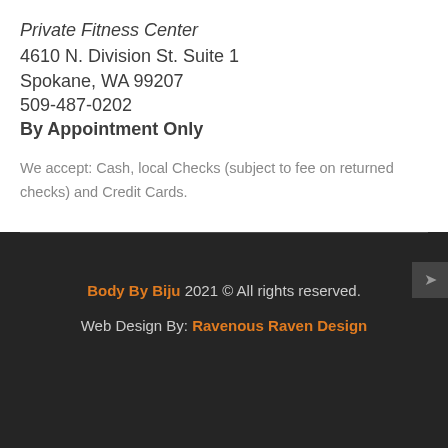Private Fitness Center
4610 N. Division St. Suite 1
Spokane, WA 99207
509-487-0202
By Appointment Only
We accept: Cash, local Checks (subject to fee on returned checks) and Credit Cards.
Body By Biju 2021 © All rights reserved.
Web Design By: Ravenous Raven Design